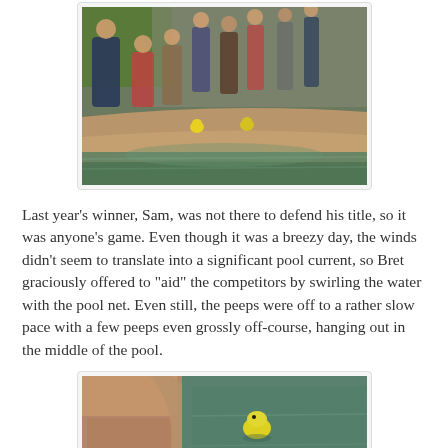[Figure (photo): People crouching along the curved stone edge of a pool, placing or watching small yellow rubber duck-like peeps in the water. Green grass and trees visible in background.]
Last year's winner, Sam, was not there to defend his title, so it was anyone's game. Even though it was a breezy day, the winds didn't seem to translate into a significant pool current, so Bret graciously offered to "aid" the competitors by swirling the water with the pool net. Even still, the peeps were off to a rather slow pace with a few peeps even grossly off-course, hanging out in the middle of the pool.
[Figure (photo): Close-up view of a pool with curved stone coping, showing three yellow Peeps candy figures floating in the green tinted water.]